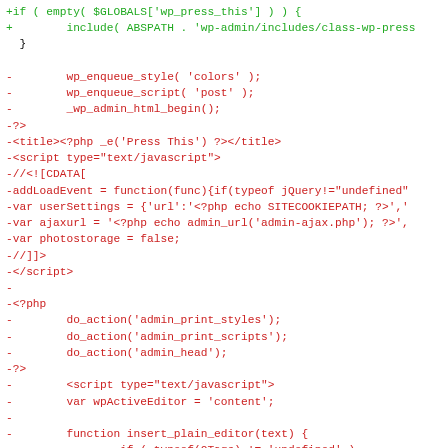[Figure (screenshot): Code diff screenshot showing removed (red) and added (green) lines of PHP/JavaScript code from a WordPress admin file. Green lines show additions with '+' prefix, red lines show deletions with '-' prefix.]